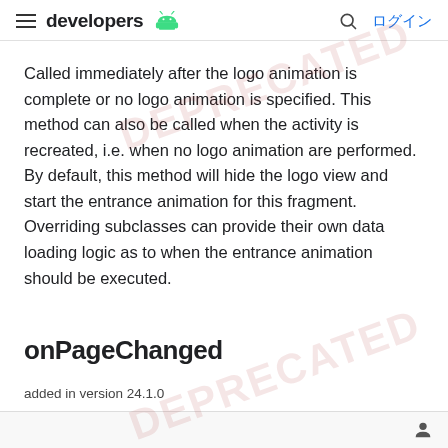developers | ログイン
Called immediately after the logo animation is complete or no logo animation is specified. This method can also be called when the activity is recreated, i.e. when no logo animation are performed. By default, this method will hide the logo view and start the entrance animation for this fragment. Overriding subclasses can provide their own data loading logic as to when the entrance animation should be executed.
onPageChanged
added in version 24.1.0